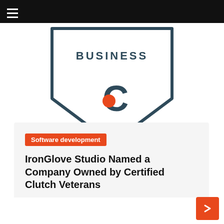[Figure (logo): Clutch 'Top Business' badge/shield with the Clutch 'C' logo (dark teal outline shield shape, text BUSINESS inside, Clutch C logo below with red dot)]
Software development
IronGlove Studio Named a Company Owned by Certified Clutch Veterans
Margie D. Carlisle   August 8, 2022